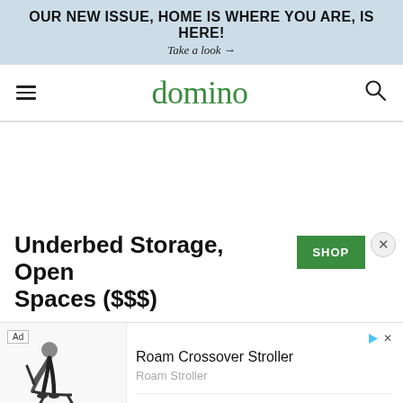OUR NEW ISSUE, HOME IS WHERE YOU ARE, IS HERE!
Take a look →
domino
Underbed Storage, Open Spaces ($$$)
[Figure (screenshot): Advertisement showing Roam Crossover Stroller with a person loading a stroller, labeled Roam Stroller, with Open button]